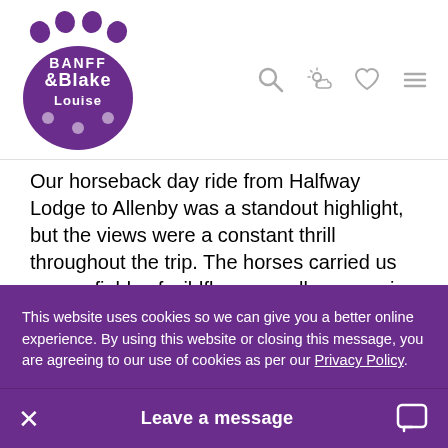Banff & Lake Louise logo with navigation icons
Our horseback day ride from Halfway Lodge to Allenby was a standout highlight, but the views were a constant thrill throughout the trip. The horses carried us across fields of wildflowers, valleys swaying with evergreens and ancient mountain ridges, and you better believe we took photos of it all.
EAT UP
This website uses cookies so we can give you a better online experience. By using this website or closing this message, you are agreeing to our use of cookies as per our Privacy Policy.
Leave a message